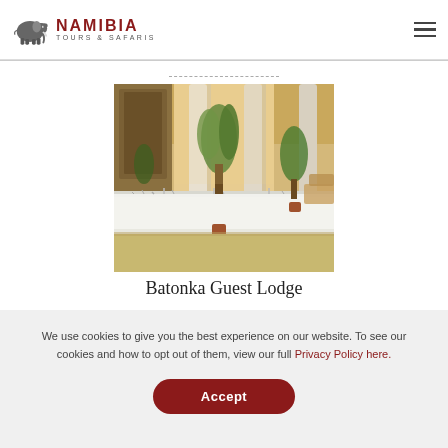Namibia Tours & Safaris — navigation header with logo and hamburger menu
[Figure (photo): Outdoor dining area of Batonka Guest Lodge: long tables set with glassware and white tablecloths, large white columns, potted plants and trees, warm evening light]
Batonka Guest Lodge
We use cookies to give you the best experience on our website. To see our cookies and how to opt out of them, view our full Privacy Policy here.
Accept